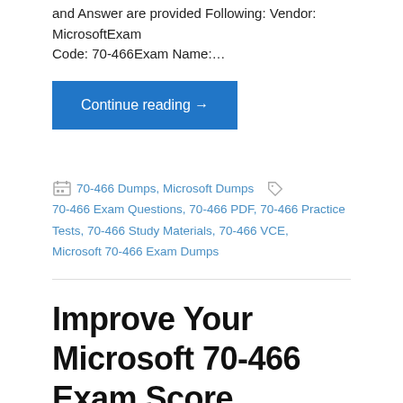and Answer are provided Following: Vendor: MicrosoftExam Code: 70-466Exam Name:…
Continue reading →
70-466 Dumps, Microsoft Dumps  70-466 Exam Questions, 70-466 PDF, 70-466 Practice Tests, 70-466 Study Materials, 70-466 VCE, Microsoft 70-466 Exam Dumps
Improve Your Microsoft 70-466 Exam Score Reporting By Using Braindump2go's New Released 70-466 Tests Dumps (141-150)